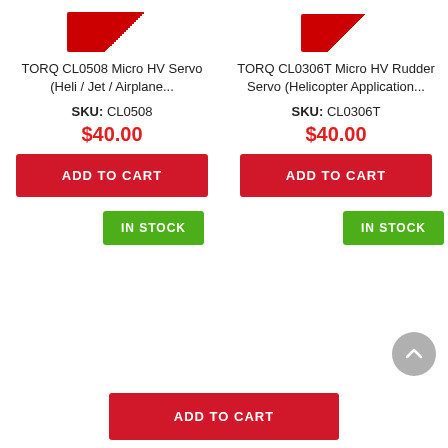[Figure (photo): Partial product image of TORQ CL0508 Micro HV Servo, top cropped]
[Figure (photo): Partial product image of TORQ CL0306T Micro HV Rudder Servo, top cropped]
TORQ CL0508 Micro HV Servo (Heli / Jet / Airplane...
TORQ CL0306T Micro HV Rudder Servo (Helicopter Application...
SKU: CL0508
SKU: CL0306T
$40.00
$40.00
ADD TO CART
ADD TO CART
IN STOCK
IN STOCK
ADD TO CART